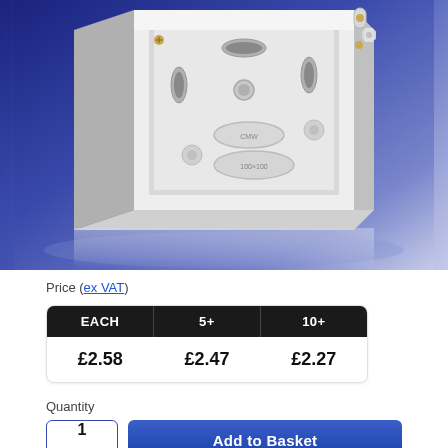[Figure (photo): White plastic electrical back box / pattress box photographed against a blue gradient background, showing the interior with knockout holes and mounting points.]
Price (ex VAT)
| EACH | 5+ | 10+ |
| --- | --- | --- |
| £2.58 | £2.47 | £2.27 |
Quantity